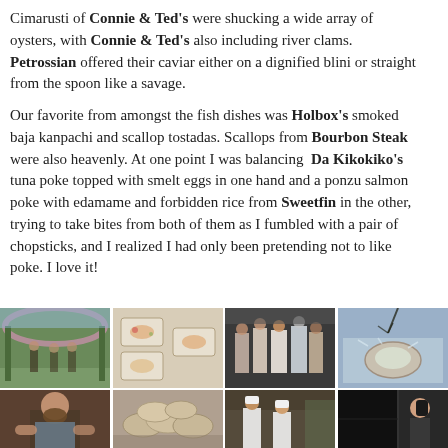Cimarusti of Connie & Ted's were shucking a wide array of oysters, with Connie & Ted's also including river clams. Petrossian offered their caviar either on a dignified blini or straight from the spoon like a savage.
Our favorite from amongst the fish dishes was Holbox's smoked baja kanpachi and scallop tostadas. Scallops from Bourbon Steak were also heavenly. At one point I was balancing Da Kikokiko's tuna poke topped with smelt eggs in one hand and a ponzu salmon poke with edamame and forbidden rice from Sweetfin in the other, trying to take bites from both of them as I fumbled with a pair of chopsticks, and I realized I had only been pretending not to like poke. I love it!
[Figure (photo): Grid of 8 food festival photos showing event venue with floral arch, plated seafood dishes, chefs posing, oysters on ice, chef working, clams/shellfish, chefs in outdoor setting, woman near dark panels]